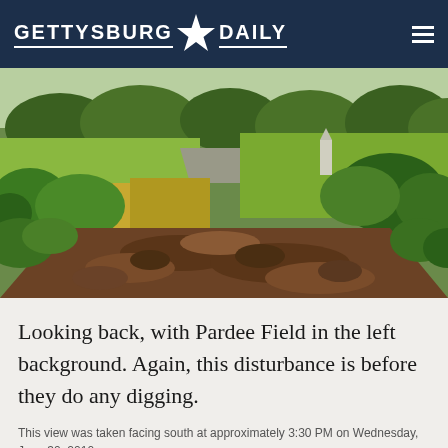GETTYSBURG ★ DAILY
[Figure (photo): Outdoor field photograph showing disturbed ground/soil in the foreground with green vegetation, shrubs, and trees in the background. A road and a monument or marker are visible in the upper right background. Pardee Field is visible in the left background.]
Looking back, with Pardee Field in the left background. Again, this disturbance is before they do any digging.
This view was taken facing south at approximately 3:30 PM on Wednesday, June 30, 2010.